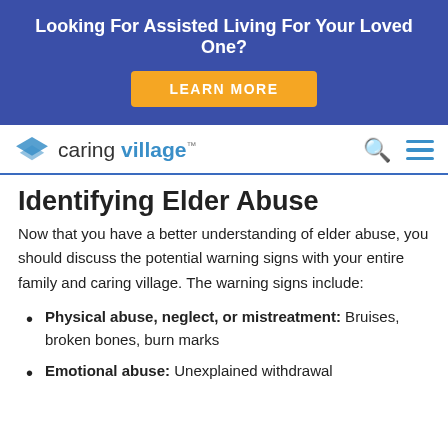Looking For Assisted Living For Your Loved One?
[Figure (other): Orange button labeled LEARN MORE on blue banner]
[Figure (logo): Caring Village logo with blue stacked diamond icon and text 'caring village']
Identifying Elder Abuse
Now that you have a better understanding of elder abuse, you should discuss the potential warning signs with your entire family and caring village. The warning signs include:
Physical abuse, neglect, or mistreatment: Bruises, broken bones, burn marks
Emotional abuse: Unexplained withdrawal